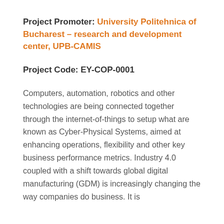Project Promoter: University Politehnica of Bucharest – research and development center, UPB-CAMIS
Project Code: EY-COP-0001
Computers, automation, robotics and other technologies are being connected together through the internet-of-things to setup what are known as Cyber-Physical Systems, aimed at enhancing operations, flexibility and other key business performance metrics. Industry 4.0 coupled with a shift towards global digital manufacturing (GDM) is increasingly changing the way companies do business. It is